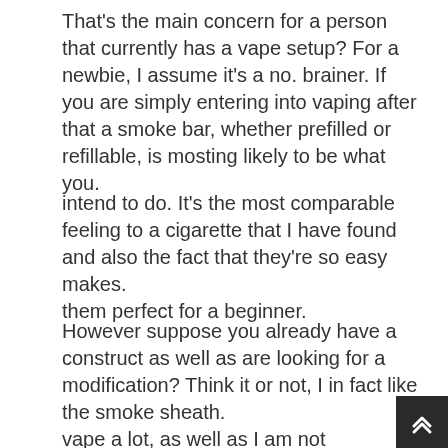That's the main concern for a person that currently has a vape setup? For a newbie, I assume it's a no. brainer. If you are simply entering into vaping after that a smoke bar, whether prefilled or refillable, is mosting likely to be what you.
intend to do. It's the most comparable feeling to a cigarette that I have found and also the fact that they're so easy makes.
them perfect for a beginner.
However suppose you already have a construct as well as are looking for a modification? Think it or not, I in fact like the smoke sheath.
vape a lot, as well as I am not depressing concerning this button in all. The configuration is rather cheap so I really did not need to drop a few. hundred to get the exact same level of high quality had with my old develop, as well as I reduced cost